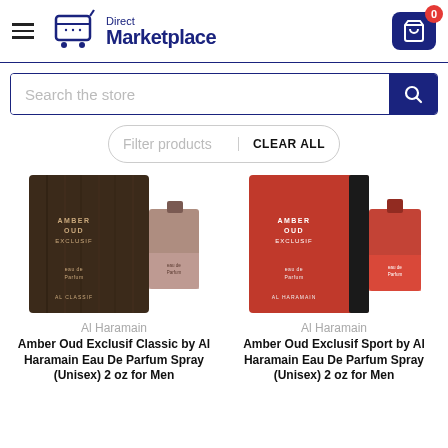Direct Marketplace — Cart: 0
Search the store
Filter products   CLEAR ALL
[Figure (photo): Amber Oud Exclusif Classic by Al Haramain — dark wood-textured box with brown glass perfume bottle]
Al Haramain
Amber Oud Exclusif Classic by Al Haramain Eau De Parfum Spray (Unisex) 2 oz for Men
[Figure (photo): Amber Oud Exclusif Sport by Al Haramain — red and black box with red glass perfume bottle]
Al Haramain
Amber Oud Exclusif Sport by Al Haramain Eau De Parfum Spray (Unisex) 2 oz for Men